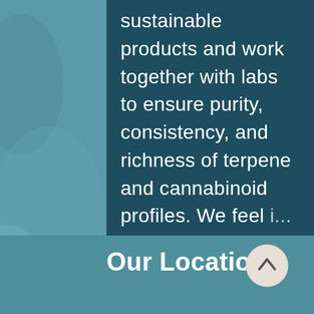sustainable products and work together with labs to ensure purity, consistency, and richness of terpene and cannabinoid profiles. We feel
Our Locations
[Figure (illustration): Scroll-to-top button: a circular button with cream/beige background and an upward-pointing chevron arrow]